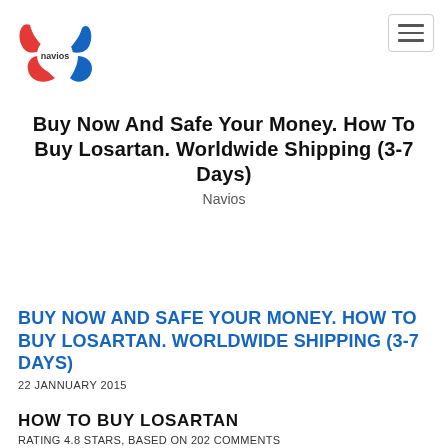[Figure (logo): Navios logo: circular emblem with red and blue swoosh shapes and 'navios' text in center]
Buy Now And Safe Your Money. How To Buy Losartan. Worldwide Shipping (3-7 Days)
Navios
BUY NOW AND SAFE YOUR MONEY. HOW TO BUY LOSARTAN. WORLDWIDE SHIPPING (3-7 DAYS)
22 JANNUARY 2015
HOW TO BUY LOSARTAN
RATING 4.8 STARS, BASED ON 202 COMMENTS